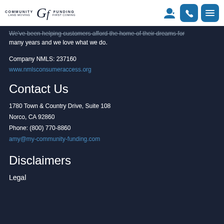Community GF Funding — navigation header with logo, user icon, phone icon, menu icon
We've been helping customers afford the home of their dreams for many years and we love what we do.
Company NMLS: 237160
www.nmlsconsumeraccess.org
Contact Us
1780 Town & Country Drive, Suite 108
Norco, CA 92860
Phone: (800) 770-8860
amy@my-community-funding.com
Disclaimers
Legal